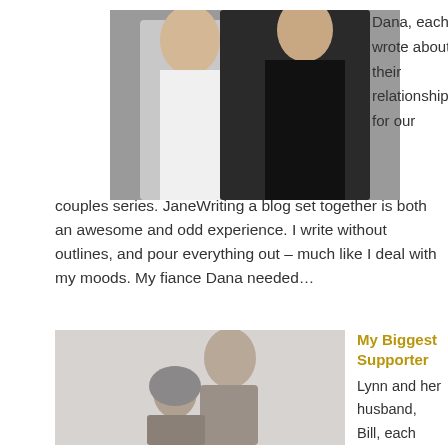[Figure (photo): Couple embracing, woman in black top and man in white shirt, close-up upper body shot]
Dana, each wrote about their relationship for our couples series. JaneWriting a blog set together is both an awesome and odd experience. I write without outlines, and pour everything out – much like I deal with my moods. My fiance Dana needed…
[Figure (photo): Couple outdoors, man laughing with head back, woman in hoodie leaning against him, grey/muted tones]
My Biggest Supporter
Lynn and her husband, Bill, each